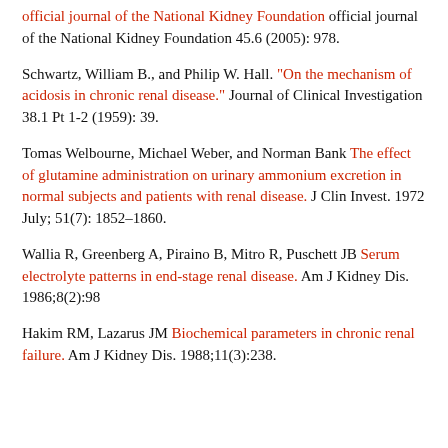[partial ref] ...official journal of the National Kidney Foundation 45.6 (2005): 978.
Schwartz, William B., and Philip W. Hall. "On the mechanism of acidosis in chronic renal disease." Journal of Clinical Investigation 38.1 Pt 1-2 (1959): 39.
Tomas Welbourne, Michael Weber, and Norman Bank The effect of glutamine administration on urinary ammonium excretion in normal subjects and patients with renal disease. J Clin Invest. 1972 July; 51(7): 1852–1860.
Wallia R, Greenberg A, Piraino B, Mitro R, Puschett JB Serum electrolyte patterns in end-stage renal disease. Am J Kidney Dis. 1986;8(2):98
Hakim RM, Lazarus JM Biochemical parameters in chronic renal failure. Am J Kidney Dis. 1988;11(3):238.